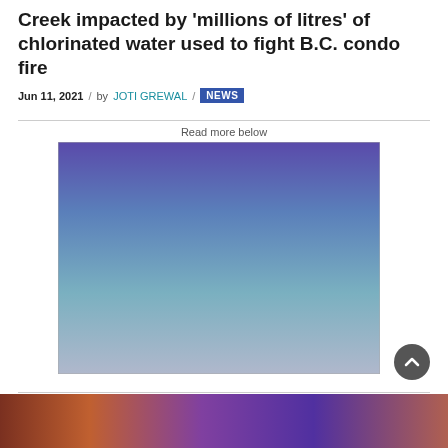Creek impacted by 'millions of litres' of chlorinated water used to fight B.C. condo fire
Jun 11, 2021 / by JOTI GREWAL / NEWS
Read more below
[Figure (photo): Advertisement placeholder image with blue-purple gradient background]
[Figure (photo): Bottom strip showing partial image with warm orange/red/purple tones]